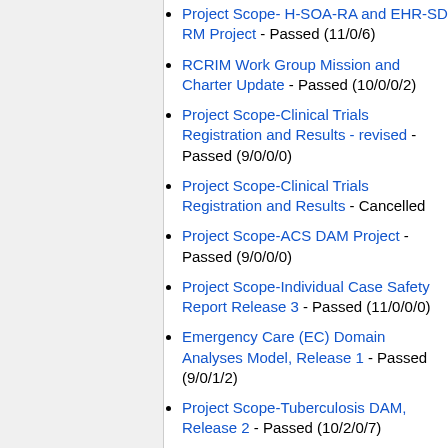Project Scope- H-SOA-RA and EHR-SD RM Project - Passed (11/0/6)
RCRIM Work Group Mission and Charter Update - Passed (10/0/0/2)
Project Scope-Clinical Trials Registration and Results - revised - Passed (9/0/0/0)
Project Scope-Clinical Trials Registration and Results - Cancelled
Project Scope-ACS DAM Project - Passed (9/0/0/0)
Project Scope-Individual Case Safety Report Release 3 - Passed (11/0/0/0)
Emergency Care (EC) Domain Analyses Model, Release 1 - Passed (9/0/1/2)
Project Scope-Tuberculosis DAM, Release 2 - Passed (10/2/0/7)
Project Scope-Composite Privacy